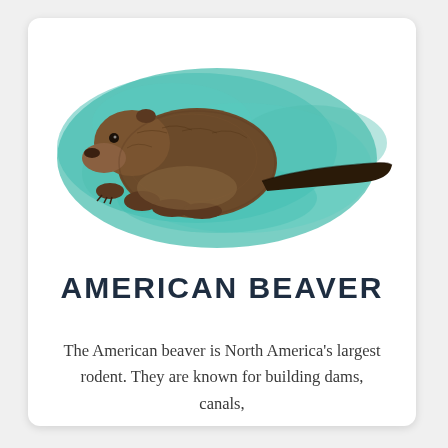[Figure (illustration): American beaver illustration on a teal watercolor splash background, shown in profile facing left with a flat tail visible.]
AMERICAN BEAVER
The American beaver is North America's largest rodent. They are known for building dams, canals,